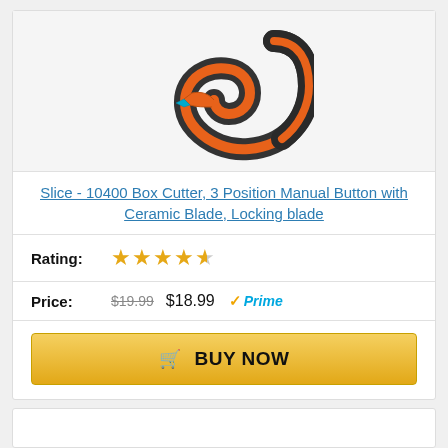[Figure (photo): A Slice 10400 Box Cutter with orange and dark gray body, curved hook-like shape with ceramic blade tip visible]
Slice - 10400 Box Cutter, 3 Position Manual Button with Ceramic Blade, Locking blade
Rating: ★★★★½
Price: $19.99 $18.99 ✓Prime
BUY NOW